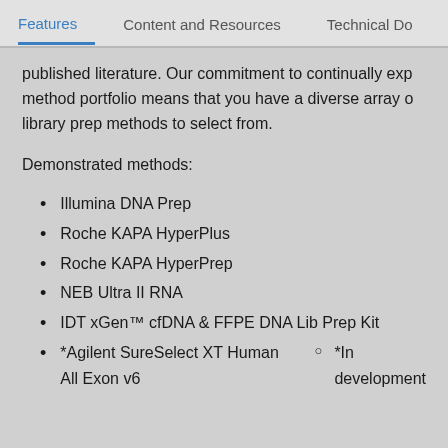Features | Content and Resources | Technical Do
published literature. Our commitment to continually exp method portfolio means that you have a diverse array of library prep methods to select from.
Demonstrated methods:
Illumina DNA Prep
Roche KAPA HyperPlus
Roche KAPA HyperPrep
NEB Ultra II RNA
IDT xGen™ cfDNA & FFPE DNA Lib Prep Kit
*Agilent SureSelect XT Human All Exon v6
*In development